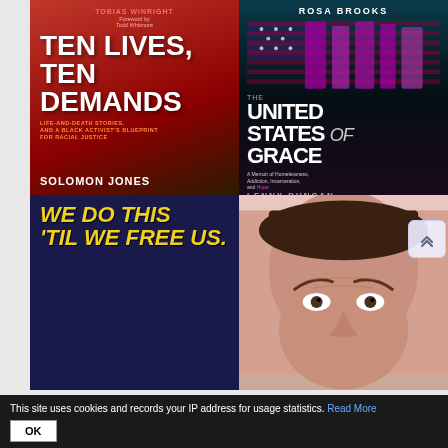[Figure (photo): Book cover: Ten Lives, Ten Demands by Solomon Jones. Red/dark background with bold white title text. Foreword by Todd Whitmore.]
[Figure (photo): Book cover: The United States of Grace by Lenny Duncan, foreword by Rosa Brooks. Dark background with distressed American flag in purple. Subtitle: A Memoir of Homelessness, Addiction, Incarceration, and Hope.]
[Figure (photo): Book cover: We Do This 'Til We Free Us. Dark blue background with yellow italic text.]
[Figure (photo): Partial book cover showing a close-up of a man's face from the nose up, with raised eyebrows, on a pink/tan background.]
This site uses cookies and records your IP address for usage statistics. Read More
OK